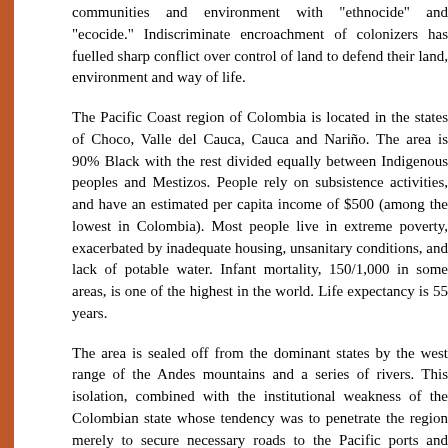communities and environment with "ethnocide" and "ecocide." Indiscriminate encroachment of colonizers has fuelled sharp conflict over control of land to defend their land, environment and way of life.
The Pacific Coast region of Colombia is located in the states of Choco, Valle del Cauca, Cauca and Nariño. The area is 90% Black with the rest divided equally between Indigenous peoples and Mestizos. People rely on subsistence activities, and have an estimated per capita income of $500 (among the lowest in Colombia). Most people live in extreme poverty, exacerbated by inadequate housing, unsanitary conditions, and lack of potable water. Infant mortality, 150/1,000 in some areas, is one of the highest in the world. Life expectancy is 55 years.
The area is sealed off from the dominant states by the west range of the Andes mountains and a series of rivers. This isolation, combined with the institutional weakness of the Colombian state whose tendency was to penetrate the region merely to secure necessary roads to the Pacific ports and mining resources.
Colonizers and logging and mining companies were free to penetrate the region, disrupting Indigenous and Black ways of life, and the environment. This steady process of encroachment has had mixed results. Indigenous peoples, their long history of organizing for land rights, have been in a strong position to resist domination. Today, many Indigenous communities enjoy collective property rights on 61 special indigenous reserves. But, on the other hand, their confinement has left their territories prey to outside pressures, like mining. And, although Black communities have never held "legal" titles to the land they've possessed for centuries.
To complicate matters further, some members of the Black communities have entered into agreements with logging companies as subcontractors. Black collaboration in the very